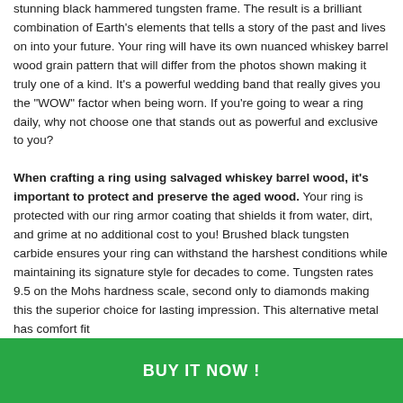stunning black hammered tungsten frame. The result is a brilliant combination of Earth's elements that tells a story of the past and lives on into your future. Your ring will have its own nuanced whiskey barrel wood grain pattern that will differ from the photos shown making it truly one of a kind. It's a powerful wedding band that really gives you the "WOW" factor when being worn. If you're going to wear a ring daily, why not choose one that stands out as powerful and exclusive to you?

When crafting a ring using salvaged whiskey barrel wood, it's important to protect and preserve the aged wood. Your ring is protected with our ring armor coating that shields it from water, dirt, and grime at no additional cost to you! Brushed black tungsten carbide ensures your ring can withstand the harshest conditions while maintaining its signature style for decades to come. Tungsten rates 9.5 on the Mohs hardness scale, second only to diamonds making this the superior choice for lasting impression. This alternative metal has comfort fit
BUY IT NOW !